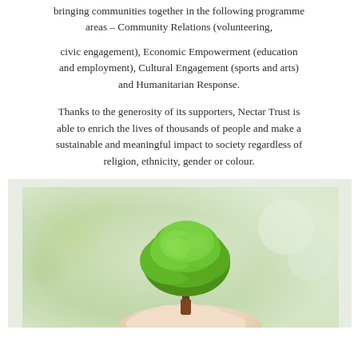bringing communities together in the following programme areas – Community Relations (volunteering,
civic engagement), Economic Empowerment (education and employment), Cultural Engagement (sports and arts) and Humanitarian Response.
Thanks to the generosity of its supporters, Nectar Trust is able to enrich the lives of thousands of people and make a sustainable and meaningful impact to society regardless of religion, ethnicity, gender or colour.
[Figure (photo): A hand holding a small green tree/sapling against a blurred green and light background, symbolizing growth and sustainability.]